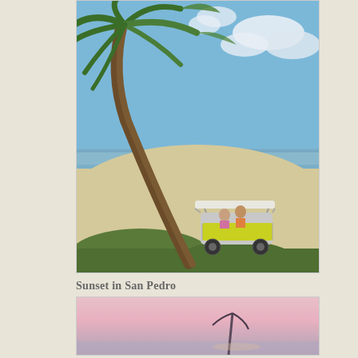[Figure (photo): Beach scene with a tall leaning palm tree dominating the upper portion of the image. Blue sky with white clouds in the background. In the foreground, people riding a yellow and white golf cart on a sandy beach path near the ocean shoreline. Green coastal vegetation at the bottom.]
Sunset in San Pedro
[Figure (photo): Partial view of a sunset sky over water in San Pedro, showing pink and purple hues with a silhouette of what appears to be a palm tree or mast.]